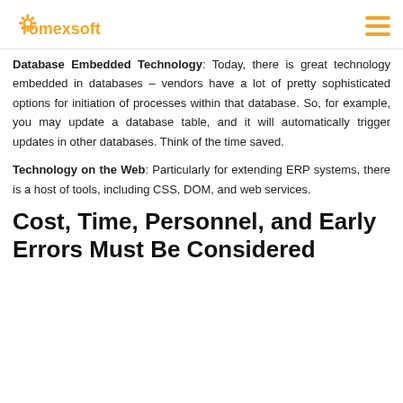romexsoft
Database Embedded Technology: Today, there is great technology embedded in databases – vendors have a lot of pretty sophisticated options for initiation of processes within that database. So, for example, you may update a database table, and it will automatically trigger updates in other databases. Think of the time saved.
Technology on the Web: Particularly for extending ERP systems, there is a host of tools, including CSS, DOM, and web services.
Cost, Time, Personnel, and Early Errors Must Be Considered